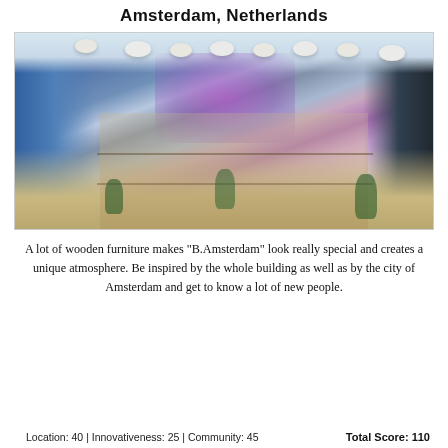Amsterdam, Netherlands
[Figure (photo): Interior photo of B.Amsterdam coworking space showing a large multi-level atrium with wooden furniture, hanging pendant lamps, plants, and a purple-lit background. Large windows on the left reveal a city view. Dark modern facade panels on the right.]
A lot of wooden furniture makes "B.Amsterdam" look really special and creates a unique atmosphere. Be inspired by the whole building as well as by the city of Amsterdam and get to know a lot of new people.
Location: 40 | Innovativeness: 25 | Community: 45
Total Score: 110